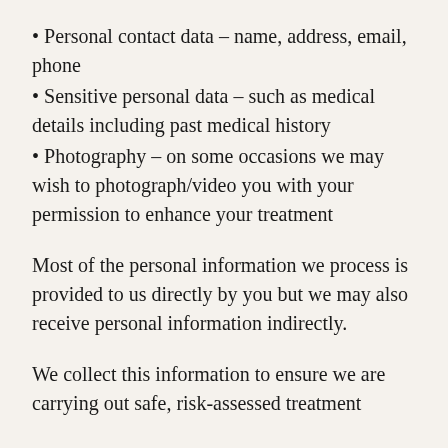Personal contact data – name, address, email, phone
Sensitive personal data – such as medical details including past medical history
Photography – on some occasions we may wish to photograph/video you with your permission to enhance your treatment
Most of the personal information we process is provided to us directly by you but we may also receive personal information indirectly.
We collect this information to ensure we are carrying out safe, risk-assessed treatment